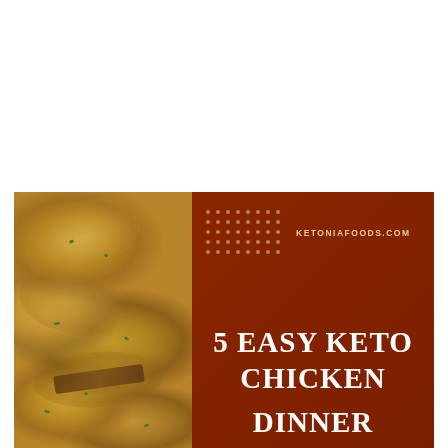[Figure (photo): Photo of breaded/seasoned chicken pieces with herbs on a plate, shown on the left side of the composition]
KETONIAFOODS.COM
5 EASY KETO CHICKEN DINNER IDEAS